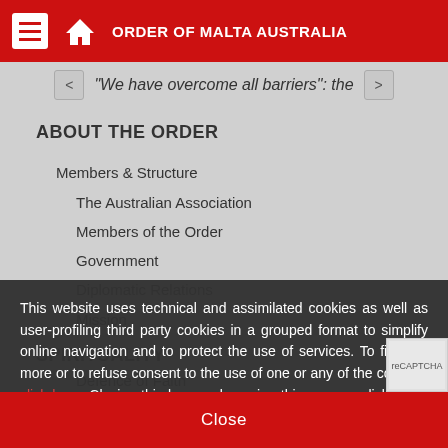ORDER OF MALTA AUSTRALIA
"We have overcome all barriers": the
ABOUT THE ORDER
Members & Structure
The Australian Association
Members of the Order
Government
Diplomatic Relations
Mission
SPIRITUALITY
Defence of Faith
Corality
This website uses technical and assimilated cookies as well as user-profiling third party cookies in a grouped format to simplify online navigation and to protect the use of services. To find out more or to refuse consent to the use of one or any of the cookies, click here. Closing this banner, browsing this page or clicking on anything will be taken as consent to the use of cookies.
Close